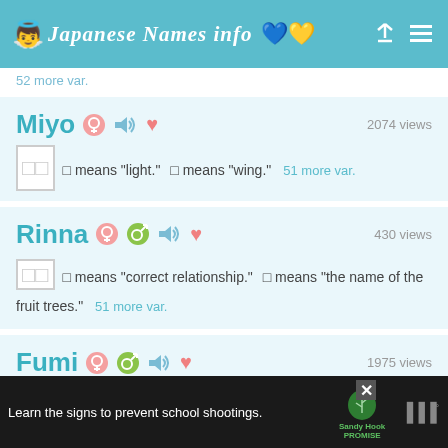Japanese Names info
52 more var.
Miyo
2074 views
□□  □ means "light."  □ means "wing."  51 more var.
Rinna
430 views
□□  □ means "correct relationship."  □ means "the name of the fruit trees."  51 more var.
Fumi
1975 views
□□  □ means "wealth."  □ means "hope."  51 more var.
Learn the signs to prevent school shootings.